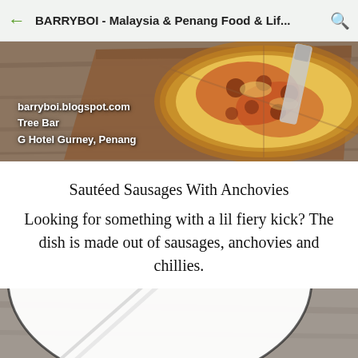BARRYBOI - Malaysia & Penang Food & Lif...
[Figure (photo): Pizza on a wooden cutting board with text overlay: barryboi.blogspot.com, Tree Bar, G Hotel Gurney, Penang]
Sautéed Sausages With Anchovies
Looking for something with a lil fiery kick? The dish is made out of sausages, anchovies and chillies.
[Figure (photo): Bottom portion: plate with chopsticks on a wooden table, blurred/cropped]